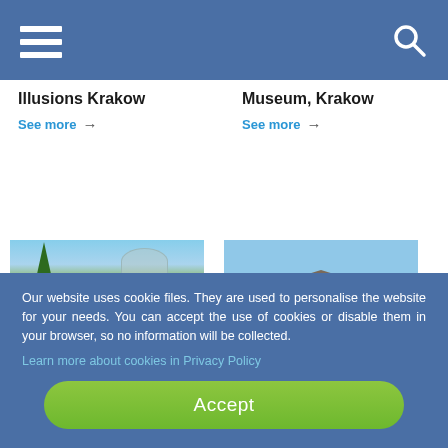[Figure (screenshot): Navigation bar with hamburger menu icon on left and search icon on right, blue background]
Illusions Krakow
See more →
Museum, Krakow
See more →
[Figure (photo): Botanical garden with large glass dome greenhouse and tall tree, Krakow]
[Figure (photo): Historic market hall building with orange roof and large wooden doors, Krakow]
Our website uses cookie files. They are used to personalise the website for your needs. You can accept the use of cookies or disable them in your browser, so no information will be collected.
Learn more about cookies in Privacy Policy
Accept